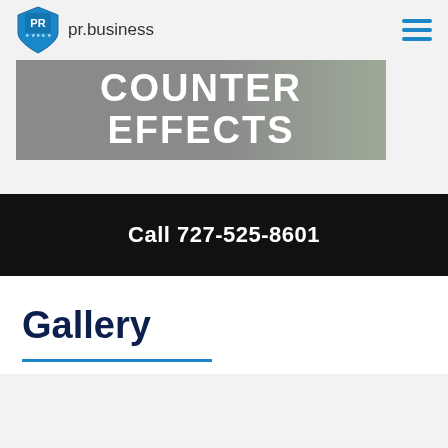pr.business
[Figure (screenshot): Hero banner image with text COUNTER EFFECTS on a gray background, resembling a kitchen counter environment]
Call 727-525-8601
Gallery